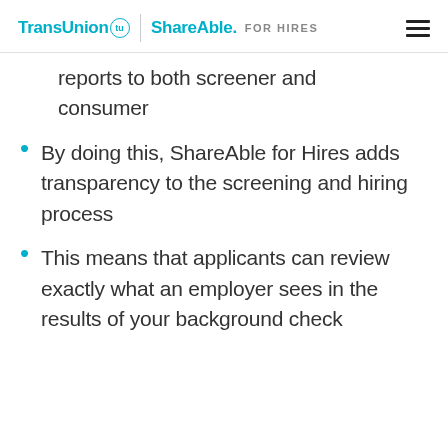TransUnion ShareAble. FOR HIRES
reports to both screener and consumer
By doing this, ShareAble for Hires adds transparency to the screening and hiring process
This means that applicants can review exactly what an employer sees in the results of your background check